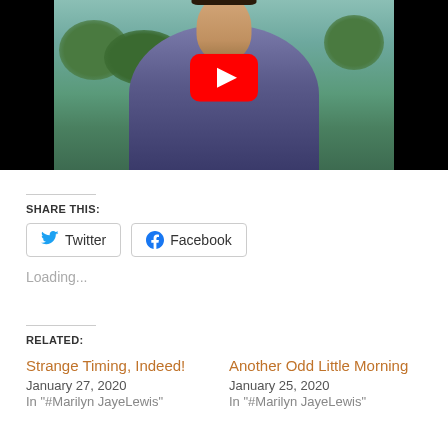[Figure (screenshot): YouTube video thumbnail showing a person wearing a dark purple/blue outfit with a bolo tie, standing outdoors with green trees in the background. A red YouTube play button is overlaid in the center-top area. The image has black bars on left and right sides.]
SHARE THIS:
[Figure (other): Twitter share button with bird icon and 'Twitter' text]
[Figure (other): Facebook share button with Facebook icon and 'Facebook' text]
Loading...
RELATED:
Strange Timing, Indeed!
January 27, 2020
In "#Marilyn JayeLewis"
Another Odd Little Morning
January 25, 2020
In "#Marilyn JayeLewis"